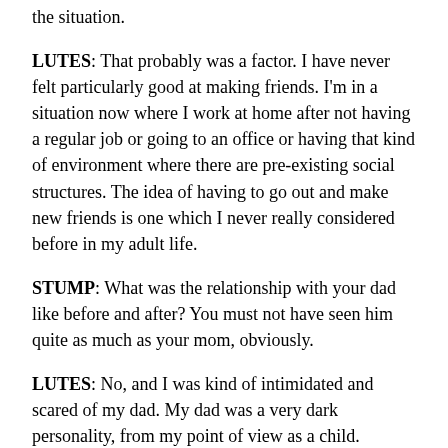the situation.
LUTES: That probably was a factor. I have never felt particularly good at making friends. I'm in a situation now where I work at home after not having a regular job or going to an office or having that kind of environment where there are pre-existing social structures. The idea of having to go out and make new friends is one which I never really considered before in my adult life.
STUMP: What was the relationship with your dad like before and after? You must not have seen him quite as much as your mom, obviously.
LUTES: No, and I was kind of intimidated and scared of my dad. My dad was a very dark personality, from my point of view as a child.
STUMP: What did he do?